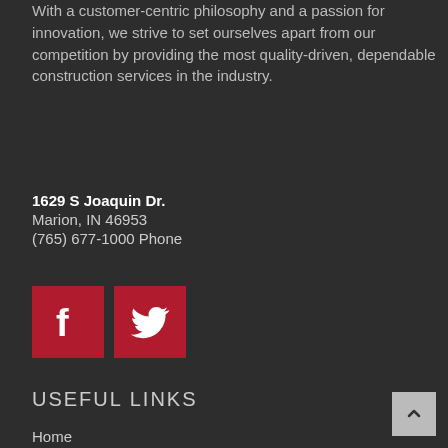With a customer-centric philosophy and a passion for innovation, we strive to set ourselves apart from our competition by providing the most quality-driven, dependable construction services in the industry.
1629 S Joaquin Dr.
Marion, IN 46953
(765) 677-1000 Phone
[Figure (logo): Facebook and Twitter social media icons in red square backgrounds]
USEFUL LINKS
Home
About Us
Our Services
Projects
Latest News
Contact Us